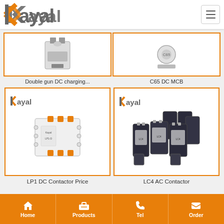Kayal — navigation header with logo and menu
[Figure (photo): Double gun DC charging station product photo, partially visible (top cropped)]
Double gun DC charging...
[Figure (photo): C65 DC MCB product photo, partially visible (top cropped)]
C65 DC MCB
[Figure (photo): LP1 DC Contactor product photo showing white/orange modular contactor with Kayal logo]
LP1 DC Contactor Price
[Figure (photo): LC4 AC Contactor product photo showing multiple dark blue/black AC contactors with Kayal logo]
LC4 AC Contactor
Home | Products | Tel | Order